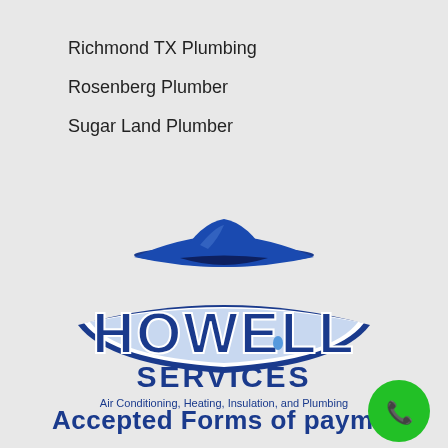Richmond TX Plumbing
Rosenberg Plumber
Sugar Land Plumber
[Figure (logo): Howell Services logo with cowboy hat above large stylized text 'HOWELL' and 'SERVICES' below, with tagline 'Air Conditioning, Heating, Insulation, and Plumbing']
Accepted Forms of payment